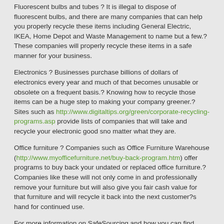Fluorescent bulbs and tubes ? It is illegal to dispose of fluorescent bulbs, and there are many companies that can help you properly recycle these items including General Electric, IKEA, Home Depot and Waste Management to name but a few.? These companies will properly recycle these items in a safe manner for your business.
Electronics ? Businesses purchase billions of dollars of electronics every year and much of that becomes unusable or obsolete on a frequent basis.? Knowing how to recycle those items can be a huge step to making your company greener.? Sites such as http://www.digitaltips.org/green/corporate-recycling-programs.asp provide lists of companies that will take and recycle your electronic good sno matter what they are.
Office furniture ? Companies such as Office Furniture Warehouse (http://www.myofficefurniture.net/buy-back-program.htm) offer programs to buy back your undated or replaced office furniture.? Companies like these will not only come in and professionally remove your furniture but will also give you fair cash value for that furniture and will recycle it back into the next customer?s hand for continued use.
For more information on SafeSourcing and how you can find even more ways to support the Recycling process or purchase from companies who excel in recycling, please contact a Customer Service Representative.
We hope you have enjoyed this week?s series and look forward to and appreciate your comments.
[Figure (other): Social media icons: Facebook, Twitter, LinkedIn]